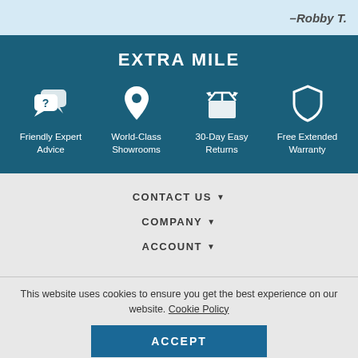–Robby T.
EXTRA MILE
[Figure (infographic): Four icons with labels: Friendly Expert Advice (chat bubbles with question mark), World-Class Showrooms (location pin), 30-Day Easy Returns (open box with arrows), Free Extended Warranty (shield)]
CONTACT US ▼
COMPANY ▼
ACCOUNT ▼
This website uses cookies to ensure you get the best experience on our website. Cookie Policy
ACCEPT